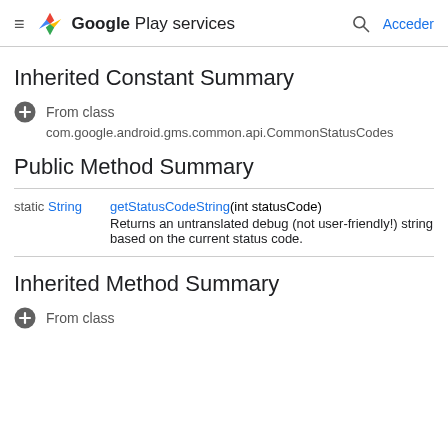Google Play services — Acceder
Inherited Constant Summary
From class com.google.android.gms.common.api.CommonStatusCodes
Public Method Summary
|  |  |
| --- | --- |
| static String | getStatusCodeString(int statusCode) Returns an untranslated debug (not user-friendly!) string based on the current status code. |
Inherited Method Summary
From class